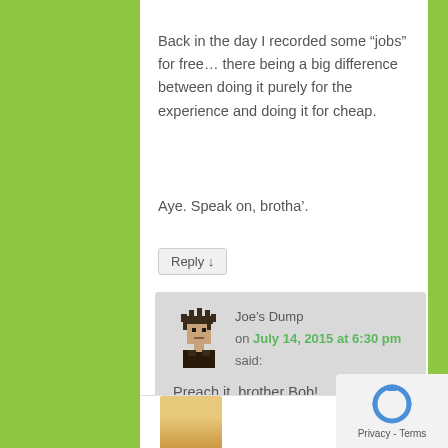Back in the day I recorded some “jobs” for free… there being a big difference between doing it purely for the experience and doing it for cheap.
Aye. Speak on, brotha’.
Reply ↓
Joe’s Dump on July 14, 2015 at 6:30 pm said:
Preach it, brother Bob!
Reply ↓